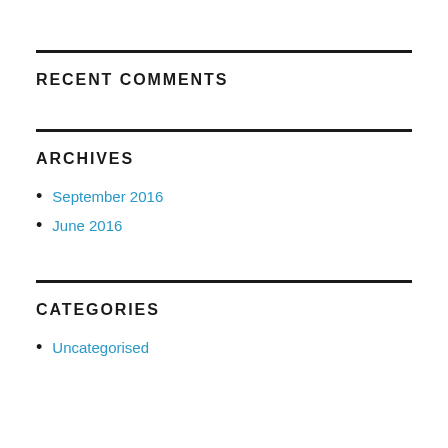RECENT COMMENTS
ARCHIVES
September 2016
June 2016
CATEGORIES
Uncategorised